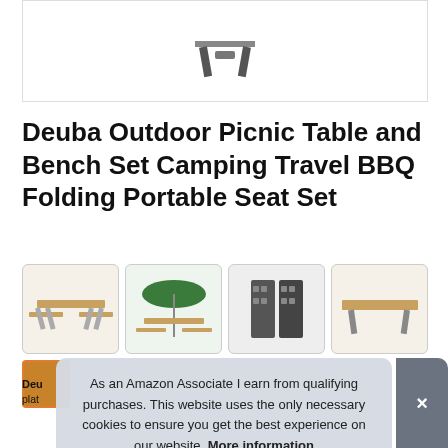[Figure (photo): Partial product image of folding picnic table set, showing bottom portion against white background]
Deuba Outdoor Picnic Table and Bench Set Camping Travel BBQ Folding Portable Seat Set
[Figure (photo): Thumbnail 1: folding picnic table with benches, wood top and metal legs]
[Figure (photo): Thumbnail 2: folding picnic table with green umbrella]
[Figure (photo): Thumbnail 3: folded/closed view of picnic table set]
[Figure (photo): Thumbnail 4: close-up of table top surface]
Deu
plat
As an Amazon Associate I earn from qualifying purchases. This website uses the only necessary cookies to ensure you get the best experience on our website. More information